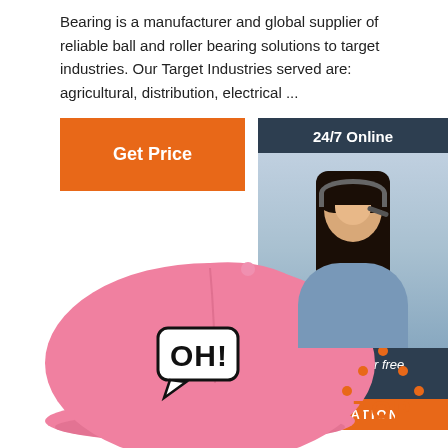Bearing is a manufacturer and global supplier of reliable ball and roller bearing solutions to target industries. Our Target Industries served are: agricultural, distribution, electrical ...
[Figure (other): Orange 'Get Price' button]
[Figure (other): 24/7 Online chat widget with photo of woman wearing headset, text 'Click here for free chat!' and orange QUOTATION button]
[Figure (photo): Pink baseball cap with 'OH!' comic-style logo patch on the front]
[Figure (logo): Orange 'TOP' logo with dotted triangle/arrow above the text]